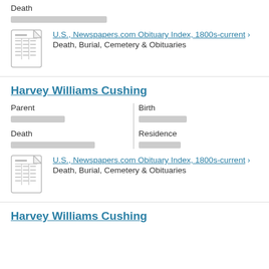Death
[blurred text]
U.S., Newspapers.com Obituary Index, 1800s-current > Death, Burial, Cemetery & Obituaries
Harvey Williams Cushing
Parent
[blurred text]
Birth
[blurred text]
Death
[blurred text]
Residence
[blurred text]
U.S., Newspapers.com Obituary Index, 1800s-current > Death, Burial, Cemetery & Obituaries
Harvey Williams Cushing